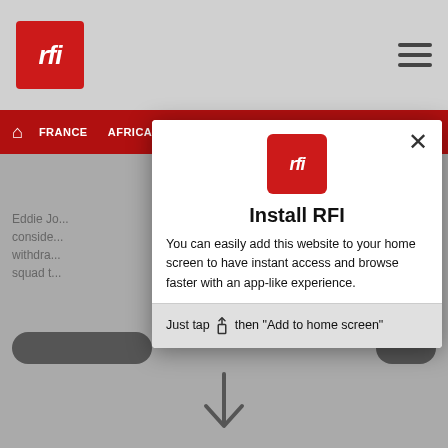[Figure (screenshot): RFI website screenshot showing top navigation bar with RFI logo (red square with white 'rfi' text), hamburger menu icon, and red navigation bar with items: Home (house icon), FRANCE, AFRICA, INTERNATIONAL, SCIENCE & TECHNO]
[Figure (screenshot): Modal dialog box on RFI website: 'Install RFI' popup with RFI logo, description text, and 'Just tap then Add to home screen' instruction with share icon, plus a downward arrow indicator]
Install RFI
You can easily add this website to your home screen to have instant access and browse faster with an app-like experience.
Just tap ↑ then "Add to home screen"